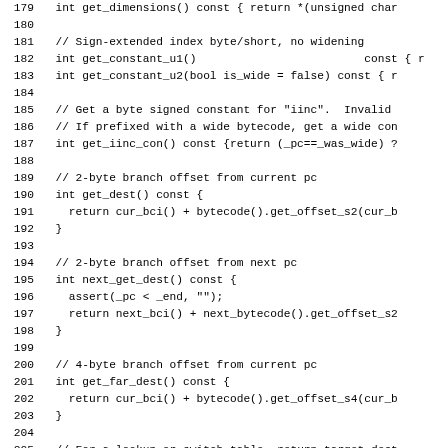Source code listing, lines 179-208, C++ bytecode class methods
179: int get_dimensions() const { return *(unsigned char
180: (blank)
181: // Sign-extended index byte/short, no widening
182: int get_constant_u1()                         const { r
183: int get_constant_u2(bool is_wide = false) const { r
184: (blank)
185: // Get a byte signed constant for "iinc".  Invalid
186: // If prefixed with a wide bytecode, get a wide con
187: int get_iinc_con() const {return (_pc==_was_wide) ?
188: (blank)
189: // 2-byte branch offset from current pc
190: int get_dest() const {
191:   return cur_bci() + bytecode().get_offset_s2(cur_b
192: }
193: (blank)
194: // 2-byte branch offset from next pc
195: int next_get_dest() const {
196:   assert(_pc < _end, "");
197:   return next_bci() + next_bytecode().get_offset_s2
198: }
199: (blank)
200: // 4-byte branch offset from current pc
201: int get_far_dest() const {
202:   return cur_bci() + bytecode().get_offset_s4(cur_b
203: }
204: (blank)
205: // For a lookup or switch table, return target dest
206: jint get_int_table( int index ) const {
207:   return (jint)Bytes::get_Java_u4((address)&_table
208: }